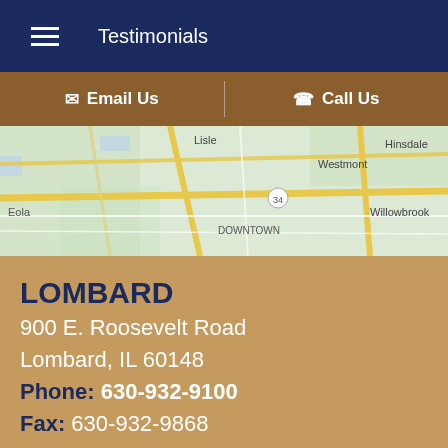Testimonials
✉ Email Us   ☎ Call Us
[Figure (map): Google map showing Lombard/Westmont/Lisle/Hinsdale/Eola/Willowbrook area with DOWNTOWN label, route 34, yellow road lines on green/white background]
LOMBARD
900 E. Roosevelt Road
Lombard, IL 60148
Phone: 630-932-9100
Fax: 630-932-9868
BLOOMINGDALE
3 CONVENIENT LOCATIONS